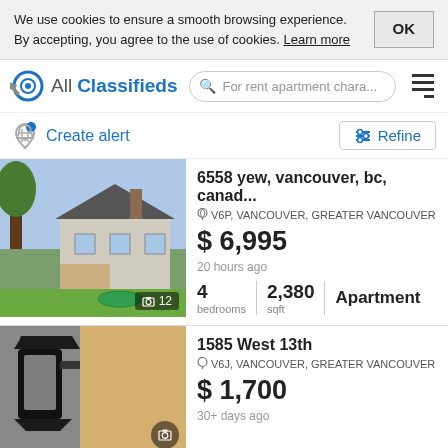We use cookies to ensure a smooth browsing experience. By accepting, you agree to the use of cookies. Learn more
[Figure (logo): AllClassifieds logo with target/circle icon in blue and grey]
For rent apartment chara...
Create alert
Refine
6558 yew, vancouver, bc, canad...
V6P, VANCOUVER, GREATER VANCOUVER
$ 6,995
20 hours ago
4 bedrooms   2,380 sqft   Apartment
[Figure (photo): Exterior photo of a house with garden and deck, photo count badge showing camera icon and 12]
1585 West 13th
V6J, VANCOUVER, GREATER VANCOUVER
$ 1,700
30+ days ago
[Figure (photo): Close-up photo of a black outdoor wall lantern/light fixture]